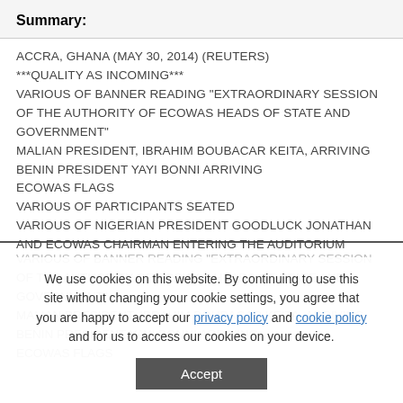Summary:
ACCRA, GHANA (MAY 30, 2014) (REUTERS)
***QUALITY AS INCOMING***
VARIOUS OF BANNER READING "EXTRAORDINARY SESSION OF THE AUTHORITY OF ECOWAS HEADS OF STATE AND GOVERNMENT"
MALIAN PRESIDENT, IBRAHIM BOUBACAR KEITA, ARRIVING
BENIN PRESIDENT YAYI BONNI ARRIVING
ECOWAS FLAGS
VARIOUS OF PARTICIPANTS SEATED
VARIOUS OF NIGERIAN PRESIDENT GOODLUCK JONATHAN AND ECOWAS CHAIRMAN ENTERING THE AUDITORIUM
We use cookies on this website. By continuing to use this site without changing your cookie settings, you agree that you are happy to accept our privacy policy and cookie policy and for us to access our cookies on your device.
Accept